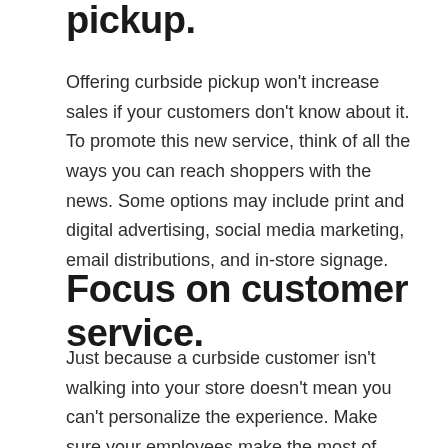pickup.
Offering curbside pickup won't increase sales if your customers don't know about it. To promote this new service, think of all the ways you can reach shoppers with the news. Some options may include print and digital advertising, social media marketing, email distributions, and in-store signage.
Focus on customer service.
Just because a curbside customer isn't walking into your store doesn't mean you can't personalize the experience. Make sure your employees make the most of their brief customer interactions by being friendly